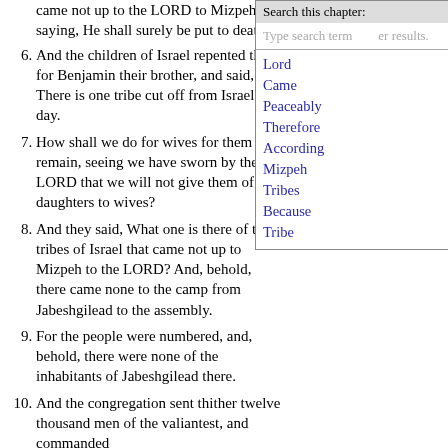came not up to the LORD to Mizpeh, saying, He shall surely be put to death.
6. And the children of Israel repented them for Benjamin their brother, and said, There is one tribe cut off from Israel this day.
7. How shall we do for wives for them that remain, seeing we have sworn by the LORD that we will not give them of our daughters to wives?
8. And they said, What one is there of the tribes of Israel that came not up to Mizpeh to the LORD? And, behold, there came none to the camp from Jabeshgilead to the assembly.
9. For the people were numbered, and, behold, there were none of the inhabitants of Jabeshgilead there.
10. And the congregation sent thither twelve thousand men of the valiantest, and commanded
[Figure (screenshot): Search overlay panel with header 'Search this chapter:', a search input box with placeholder 'Type search term', and a list of blue hyperlinks: Lord, Came, Peaceably, Therefore, According, Mizpeh, Tribes, Because, Tribe]